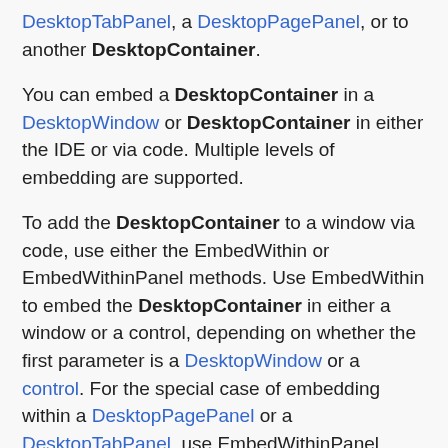DesktopTabPanel, a DesktopPagePanel, or to another DesktopContainer.
You can embed a DesktopContainer in a DesktopWindow or DesktopContainer in either the IDE or via code. Multiple levels of embedding are supported.
To add the DesktopContainer to a window via code, use either the EmbedWithin or EmbedWithinPanel methods. Use EmbedWithin to embed the DesktopContainer in either a window or a control, depending on whether the first parameter is a DesktopWindow or a control. For the special case of embedding within a DesktopPagePanel or a DesktopTabPanel, use EmbedWithinPanel instead. It allows you to pass the page number on which the DesktopContainer will be embedded. To remove the container, use the Close method.
The following statement embeds a DesktopContainer at